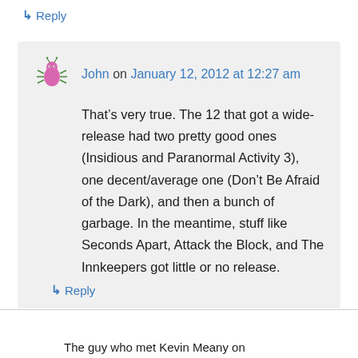↳ Reply
John on January 12, 2012 at 12:27 am
That's very true. The 12 that got a wide-release had two pretty good ones (Insidious and Paranormal Activity 3), one decent/average one (Don't Be Afraid of the Dark), and then a bunch of garbage. In the meantime, stuff like Seconds Apart, Attack the Block, and The Innkeepers got little or no release.
↳ Reply
The guy who met Kevin Meany on